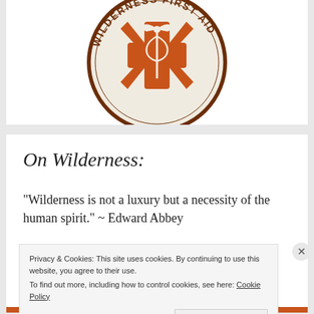[Figure (logo): Wilderness First Aid circular badge logo with orange star-of-life cross, caduceus symbol, and text 'WILDERNESS FIRST AID' around the perimeter on a cream background with brown border]
On Wilderness:
“Wilderness is not a luxury but a necessity of the human spirit.” ~ Edward Abbey
Privacy & Cookies: This site uses cookies. By continuing to use this website, you agree to their use.
To find out more, including how to control cookies, see here: Cookie Policy